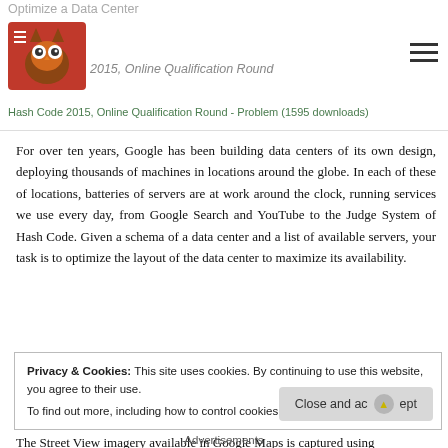Optimize a Data Center
Hash Code 2015, Online Qualification Round
Hash Code 2015, Online Qualification Round - Problem (1595 downloads)
For over ten years, Google has been building data centers of its own design, deploying thousands of machines in locations around the globe. In each of these of locations, batteries of servers are at work around the clock, running services we use every day, from Google Search and YouTube to the Judge System of Hash Code. Given a schema of a data center and a list of available servers, your task is to optimize the layout of the data center to maximize its availability.
Street View Routing
Hash Code 2014, Final Round
Hash Code 2014, Final Round - Problem (1489 downloads)
The Street View imagery available in Google Maps is captured using
Privacy & Cookies: This site uses cookies. By continuing to use this website, you agree to their use.
To find out more, including how to control cookies, see here: Cookie Policy
Advertisements